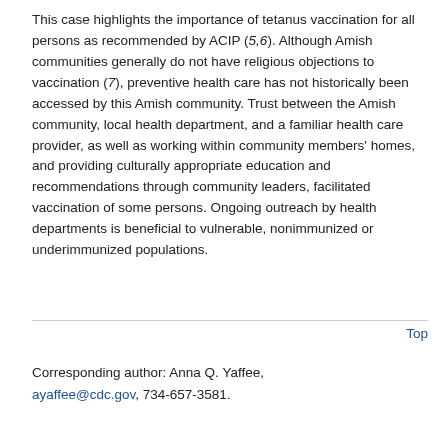This case highlights the importance of tetanus vaccination for all persons as recommended by ACIP (5,6). Although Amish communities generally do not have religious objections to vaccination (7), preventive health care has not historically been accessed by this Amish community. Trust between the Amish community, local health department, and a familiar health care provider, as well as working within community members' homes, and providing culturally appropriate education and recommendations through community leaders, facilitated vaccination of some persons. Ongoing outreach by health departments is beneficial to vulnerable, nonimmunized or underimmunized populations.
Top
Corresponding author: Anna Q. Yaffee, ayaffee@cdc.gov, 734-657-3581.